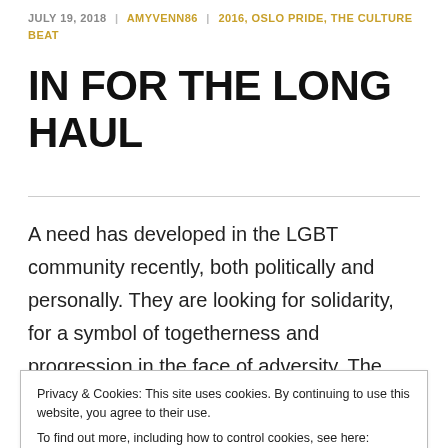JULY 19, 2018 | AMYVENN86 | 2016, OSLO PRIDE, THE CULTURE BEAT
IN FOR THE LONG HAUL
A need has developed in the LGBT community recently, both politically and personally. They are looking for solidarity, for a symbol of togetherness and progression in the face of adversity. The Oslo Fagottkor may be the answer, whether they like it or
Privacy & Cookies: This site uses cookies. By continuing to use this website, you agree to their use. To find out more, including how to control cookies, see here: Cookie Policy Close and accept
men's choir located in Oslo, Norway, but there is